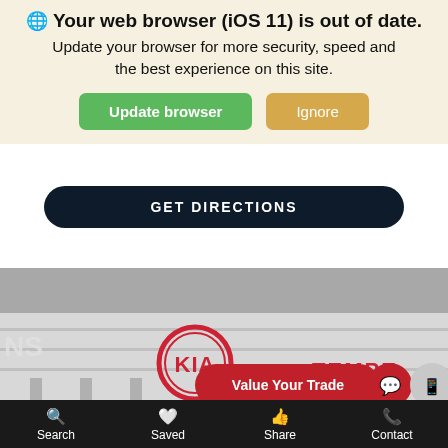🌐 Your web browser (iOS 11) is out of date. Update your browser for more security, speed and the best experience on this site.
Update browser
Ignore
GET DIRECTIONS
[Figure (photo): Black and white photo of a Kia dealership building exterior showing the Kia logo and TEMPE signage, with a red 'Value Your Trade' button overlay and chat/mobile action buttons]
Value Your Trade
Search   Saved   Share   Contact